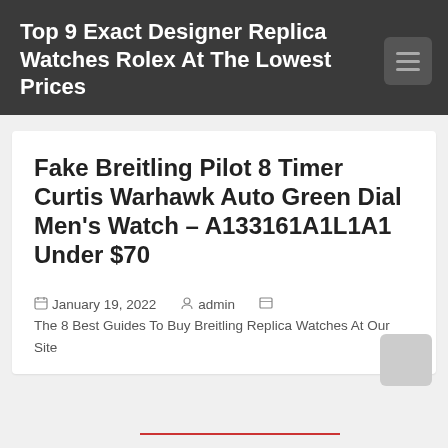Top 9 Exact Designer Replica Watches Rolex At The Lowest Prices
Fake Breitling Pilot 8 Timer Curtis Warhawk Auto Green Dial Men’s Watch – A133161A1L1A1 Under $70
January 19, 2022   admin   The 8 Best Guides To Buy Breitling Replica Watches At Our Site